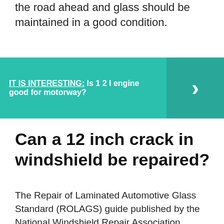the road ahead and glass should be maintained in a good condition.
IT IS INTERESTING:  Is 1 2 l engine good for motorway?
Can a 12 inch crack in windshield be repaired?
The Repair of Laminated Automotive Glass Standard (ROLAGS) guide published by the National Windshield Repair Association (NWRA) states that chips or bullseyes up to 1 inch in diameter or cracks as long as 12 to 14 inches in length can be safely fixed.
Will windshield shatter if